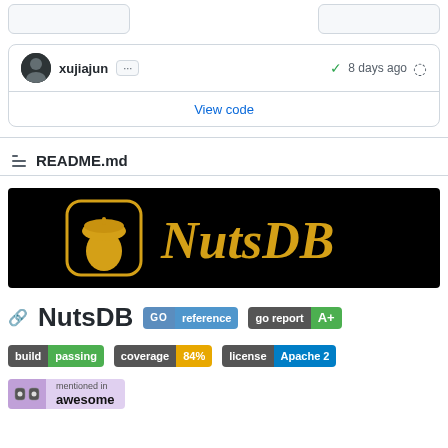[Figure (screenshot): GitHub repository page showing commit info for xujiajun with checkmark and '8 days ago', a 'View code' link, README.md header, NutsDB banner logo, and NutsDB title with badges for go reference, go report A+, build passing, coverage 84%, license Apache 2, and mentioned in awesome.]